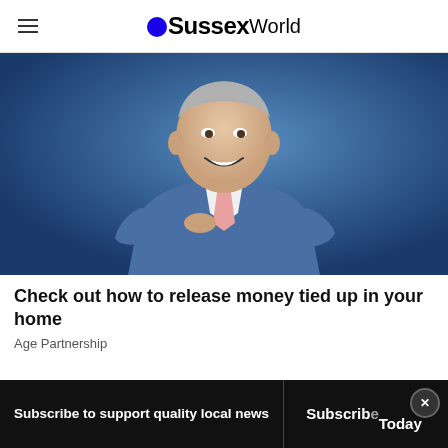Sussex World
[Figure (photo): Man in blue suit with pink tie, arms crossed, smiling, against blue background]
Check out how to release money tied up in your home
Age Partnership
Subscribe to support quality local news | Subscribe Today